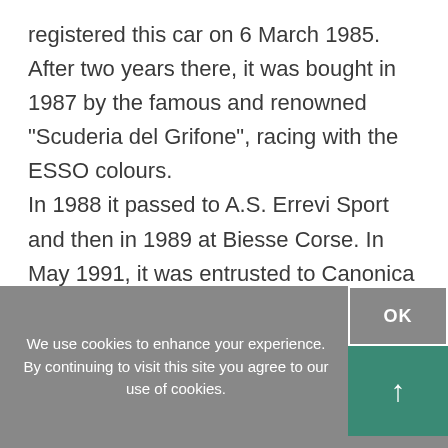registered this car on 6 March 1985. After two years there, it was bought in 1987 by the famous and renowned "Scuderia del Grifone", racing with the ESSO colours. In 1988 it passed to A.S. Errevi Sport and then in 1989 at Biesse Corse. In May 1991, it was entrusted to Canonica Racing S.r.l. until the end of its racing career in 1995 when a private individual bought and kept it for ten years until he sold it in 2005.
We use cookies to enhance your experience. By continuing to visit this site you agree to our use of cookies.